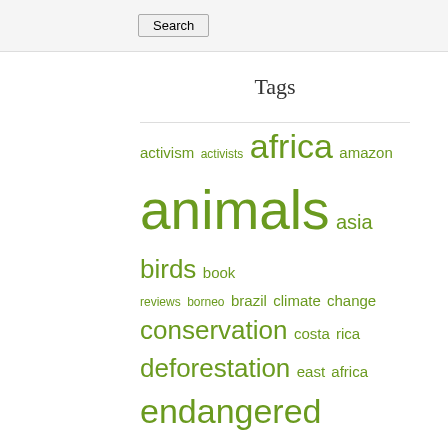Search
Tags
activism activists africa amazon animals asia birds book reviews borneo brazil climate change conservation costa rica deforestation east africa endangered species Fish forests gabriel thoumi herps indigenous people indonesia insects kenya links of the day madagascar malaysia mammals monkeys Oceans photo photoblog photoblogs photo of the day photos primates rainforests reptiles south america southeast asia united states video videos wildlife zoos